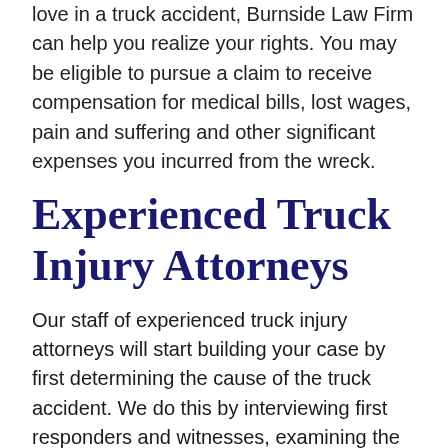love in a truck accident, Burnside Law Firm can help you realize your rights. You may be eligible to pursue a claim to receive compensation for medical bills, lost wages, pain and suffering and other significant expenses you incurred from the wreck.
Experienced Truck Injury Attorneys
Our staff of experienced truck injury attorneys will start building your case by first determining the cause of the truck accident. We do this by interviewing first responders and witnesses, examining the driver's log, photographing or filming the roadway and the truck, and consulting with accident reconstruction experts.
Despite being heavily regulated through federal laws, truck drivers can make mistakes and show negligence on the roads just like any other driver. At Burnside Law Firm in